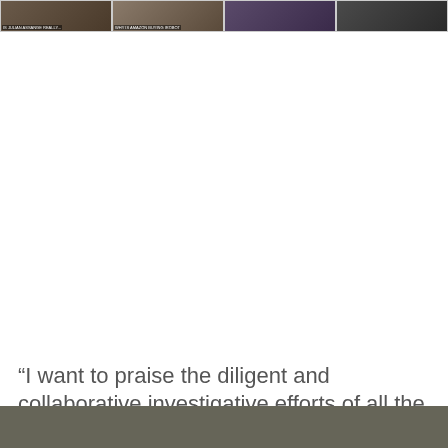[Figure (photo): A horizontal strip of four news/TV screenshot thumbnail images at the top of the page. First image shows a person in a TV studio setting with text overlay. Second image shows a TV screen with text 'WHY IS AMAZON BUYING IROBOF'. Third image shows two people standing, one in bright clothing. Fourth image shows a person in dark clothing.]
“I want to praise the diligent and collaborative investigative efforts of all the detectives who